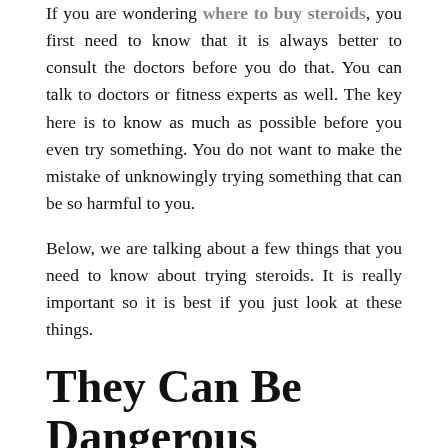If you are wondering where to buy steroids, you first need to know that it is always better to consult the doctors before you do that. You can talk to doctors or fitness experts as well. The key here is to know as much as possible before you even try something. You do not want to make the mistake of unknowingly trying something that can be so harmful to you.
Below, we are talking about a few things that you need to know about trying steroids. It is really important so it is best if you just look at these things.
They Can Be Dangerous
Consider this as a massive warning that whenever you are thinking about steroids, they can be a lot more dangerous than you think. In many cases, steroids can be fatal, too.